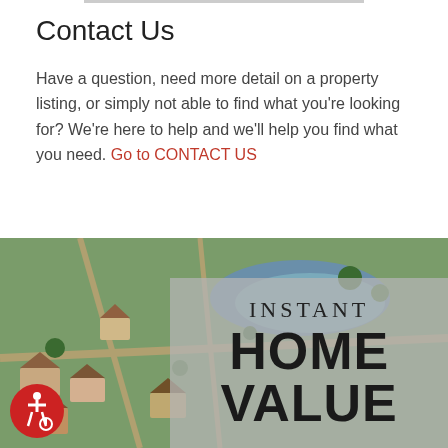Contact Us
Have a question, need more detail on a property listing, or simply not able to find what you're looking for? We're here to help and we'll help you find what you need. Go to CONTACT US
[Figure (photo): Aerial view of a residential neighborhood with houses, roads, trees, and a lake/pond in the background, overlaid with a semi-transparent gray panel on the right side containing the text INSTANT HOME VALUE]